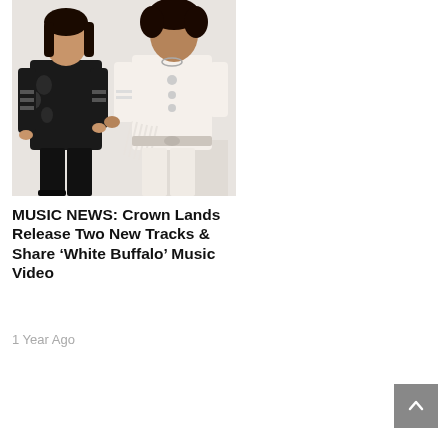[Figure (photo): Two musicians posed against a white background. Left person wears a black jacket with floral embroidery and black pants. Right person wears a white fringed jacket and white pants, leaning on a white block.]
MUSIC NEWS: Crown Lands Release Two New Tracks & Share ‘White Buffalo’ Music Video
1 Year Ago